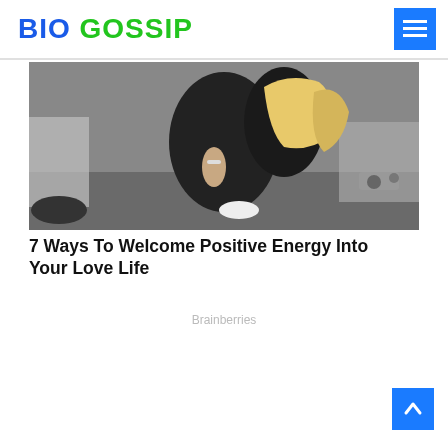BIO GOSSIP
[Figure (photo): Two women posing next to a car, one wearing black outfit with blonde hair]
7 Ways To Welcome Positive Energy Into Your Love Life
Brainberries